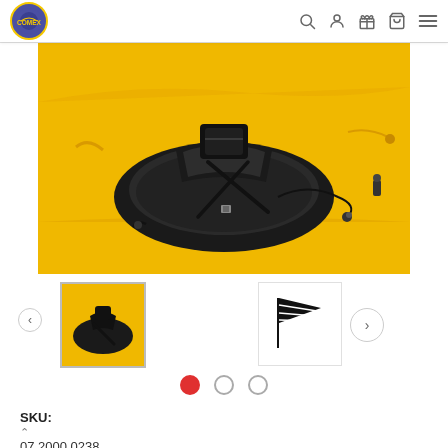[Figure (logo): Comex circular logo with purple/blue background and yellow border]
[Figure (photo): Yellow kayak with black seat/backrest and black straps/hardware close-up]
[Figure (photo): Thumbnail: black kayak seat on yellow kayak]
[Figure (photo): Thumbnail: black kayak flag/marker accessory]
SKU:
07.2000.0238